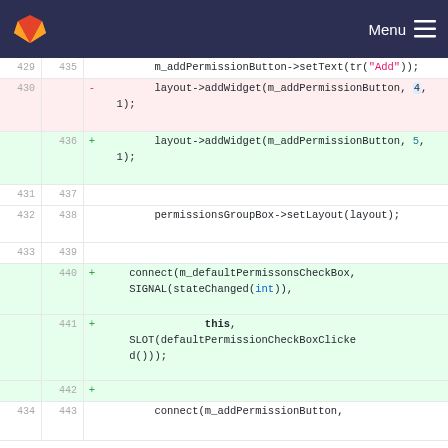GitLab navigation bar with Menu
[Figure (screenshot): Code diff view showing changes to C++ source file with line numbers and +/- markers]
429 435  m_addPermissionButton->setText(tr("Add"));
430 -  layout->addWidget(m_addPermissionButton, 4, 1);
436 +  layout->addWidget(m_addPermissionButton, 5, 1);
431 437
432 438  permissionsGroupBox->setLayout(layout);
433 439
440 +  connect(m_defaultPermissonsCheckBox, SIGNAL(stateChanged(int)),
441 +    this, SLOT(defaultPermissionCheckBoxClicked()));
442 +
434 443  connect(m_addPermissionButton,